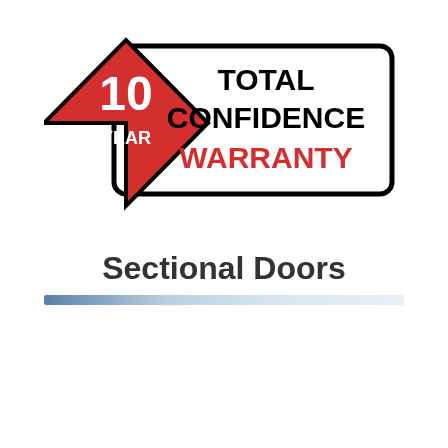[Figure (logo): 10 Year Total Confidence Warranty badge. A red diamond shape with white text '10 YEAR' overlaps the left side of a black-outlined rectangle. Inside the rectangle the text reads 'TOTAL CONFIDENCE' in bold black and 'WARRANTY' in bold red.]
Sectional Doors